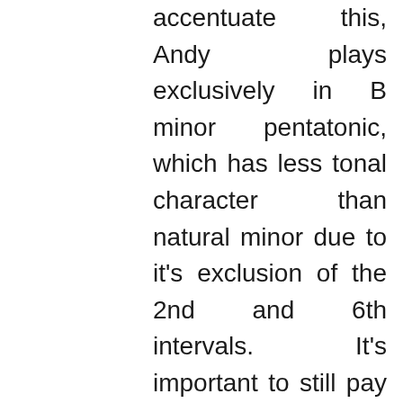accentuate this, Andy plays exclusively in B minor pentatonic, which has less tonal character than natural minor due to it's exclusion of the 2nd and 6th intervals. It's important to still pay close attention to his use of articulation and slides, as it makes each passage flow seamlessly without seeming disjointed. Also note that his use of vibrato is more reserved than in “bigger” song. Each element of his playing reflects the mood of the piece, and this stylistic accuracy should be a conscious aspect of your playing.

To transition back into the intro/chorus